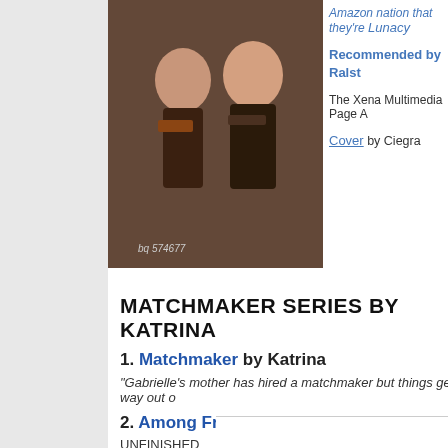[Figure (photo): Photo of women in Amazon warrior costumes, appearing to be from the TV show Xena: Warrior Princess]
Amazon nation that they're
Lunacy
Recommended by Ralst
The Xena Multimedia Page A
Cover by Ciegra
MATCHMAKER SERIES BY KATRINA
1. Matchmaker by Katrina
"Gabrielle's mother has hired a matchmaker but things get way out o
2. Among Friends  by Katrina
UNFINISHED
"An obscure law threatening Gabrielle and Xena's marriage spark
Athenaeum